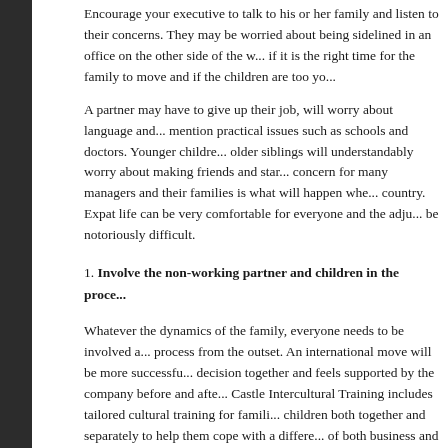Encourage your executive to talk to his or her family and listen to their concerns. They may be worried about being sidelined in an office on the other side of the world, or they may doubt if it is the right time for the family to move and if the children are too young.
A partner may have to give up their job, will worry about language and social integration, not to mention practical issues such as schools and doctors. Younger children may settle quickly but older siblings will understandably worry about making friends and starting a new school. A major concern for many managers and their families is what will happen when they return to their home country. Expat life can be very comfortable for everyone and the adjustment on return can also be notoriously difficult.
1. Involve the non-working partner and children in the process
Whatever the dynamics of the family, everyone needs to be involved and engaged in the process from the outset. An international move will be more successful if the whole family makes the decision together and feels supported by the company before and after the move. Castle Intercultural Training includes tailored cultural training for families, working with adults and children both together and separately to help them cope with a different culture in all aspects of both business and private lives. It is also useful if expats have a grounding in the local language before leaving. If possible, employers are advised to offer cultural training and support before and after the big move.
1. Accentuate the positive
It is easy to focus on the negative aspects of relocating abroad. We have seen clients who have wasted time and energy on minute cultural details that they can't change. We encourage employees and families to look for the benefits. Working and living overseas can be immensely educational and enriching – providing opportunities to learn a new language,